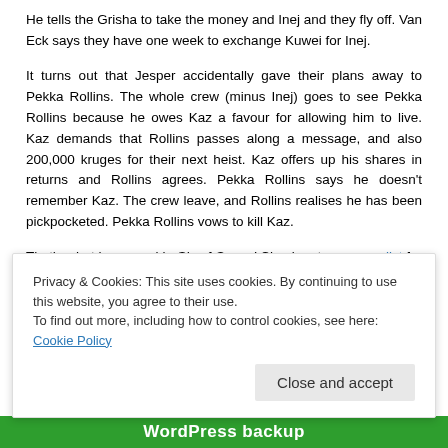He tells the Grisha to take the money and Inej and they fly off. Van Eck says they have one week to exchange Kuwei for Inej.
It turns out that Jesper accidentally gave their plans away to Pekka Rollins. The whole crew (minus Inej) goes to see Pekka Rollins because he owes Kaz a favour for allowing him to live. Kaz demands that Rollins passes along a message, and also 200,000 kruges for their next heist. Kaz offers up his shares in returns and Rollins agrees. Pekka Rollins says he doesn't remember Kaz. The crew leave, and Rollins realises he has been pickpocketed. Pekka Rollins vows to kill Kaz.
That's what happened in Six of Crows! Check out our recap list for more recaps. If you can't find what you need, you can request a recap from us!
Advertisements
[Figure (other): Green advertisement banner with dots]
Privacy & Cookies: This site uses cookies. By continuing to use this website, you agree to their use. To find out more, including how to control cookies, see here: Cookie Policy
Close and accept
WordPress backup